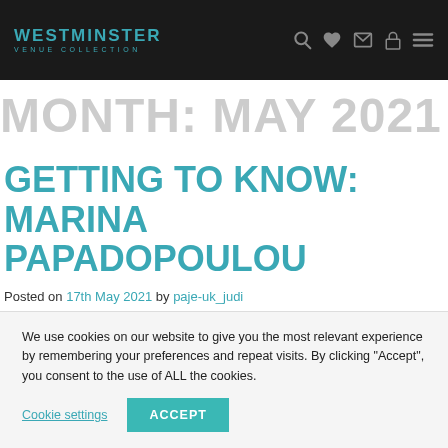WESTMINSTER VENUE COLLECTION
MONTH: MAY 2021
GETTING TO KNOW: MARINA PAPADOPOULOU
Posted on 17th May 2021 by paje-uk_judi
For the last two and a half years, Marina Papadopoulou has been the Business Development Manager for Church House
We use cookies on our website to give you the most relevant experience by remembering your preferences and repeat visits. By clicking “Accept”, you consent to the use of ALL the cookies.